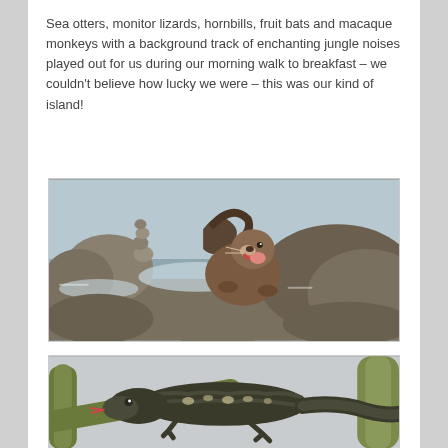Sea otters, monitor lizards, hornbills, fruit bats and macaque monkeys with a background track of enchanting jungle noises played out for us during our morning walk to breakfast – we couldn't believe how lucky we were – this was our kind of island!
[Figure (photo): A sea otter sitting on rocky shoreline, eating a fish, with water and rocks in background]
[Figure (photo): A monitor lizard on tree branches with grey sky background]